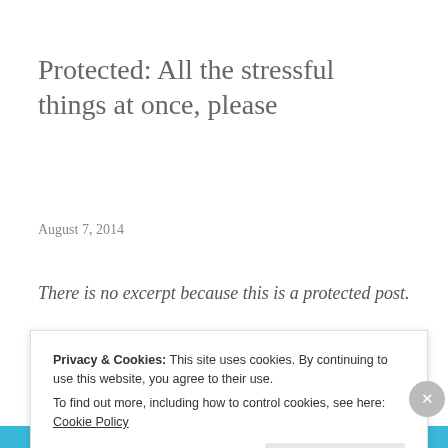Protected: All the stressful things at once, please
August 7, 2014
There is no excerpt because this is a protected post.
[Figure (other): Share/link icon button on light gray background]
Privacy & Cookies: This site uses cookies. By continuing to use this website, you agree to their use.
To find out more, including how to control cookies, see here: Cookie Policy
Close and accept